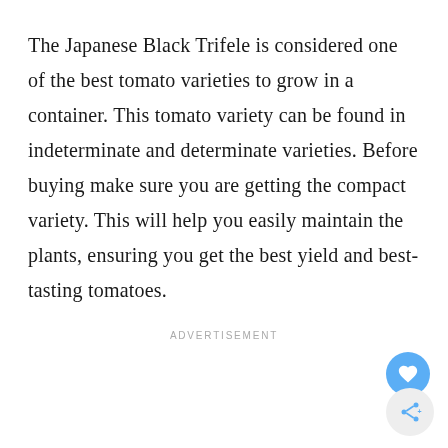The Japanese Black Trifele is considered one of the best tomato varieties to grow in a container. This tomato variety can be found in indeterminate and determinate varieties. Before buying make sure you are getting the compact variety. This will help you easily maintain the plants, ensuring you get the best yield and best-tasting tomatoes.
ADVERTISEMENT